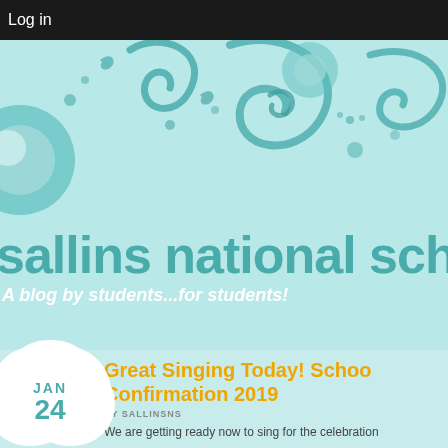Log in
[Figure (illustration): Decorative teal swirl patterns on a light blue background forming a school blog header banner]
sallins national scho
A blog by students...for students!
Great Singing Today! School Confirmation 2019
BY SALLINSNS
We are getting ready now to sing for the celebration